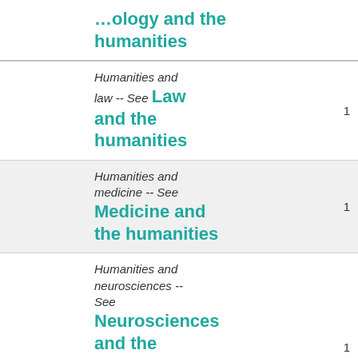...ology and the humanities
Humanities and law -- See Law and the humanities
Humanities and medicine -- See Medicine and the humanities
Humanities and neurosciences -- See Neurosciences and the [humanities]